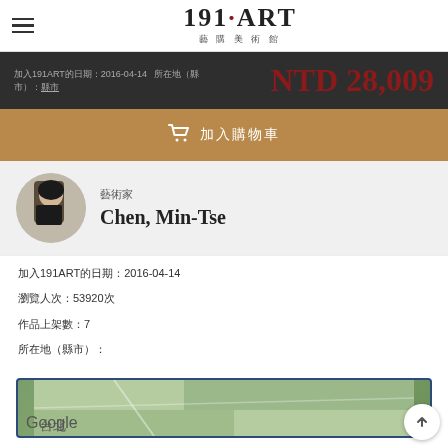191ART 藝購美術館
NTD 28,009
加入購物車
藝術家 Chen, Min-Tse
加入191ART的日期：2016-04-14
瀏覽人次：53920次
作品上架數：7
所在地（縣市）：
[Figure (map): Google Maps embed showing location]